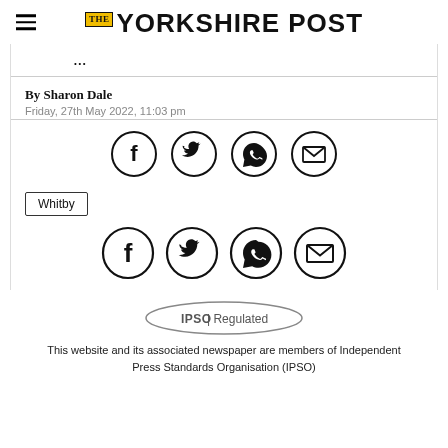THE YORKSHIRE POST
By Sharon Dale
Friday, 27th May 2022, 11:03 pm
[Figure (infographic): Social share icons row 1: Facebook, Twitter, WhatsApp, Email (circle icons)]
Whitby
[Figure (infographic): Social share icons row 2: Facebook, Twitter, WhatsApp, Email (circle icons)]
[Figure (logo): IPSO Regulated badge]
This website and its associated newspaper are members of Independent Press Standards Organisation (IPSO)